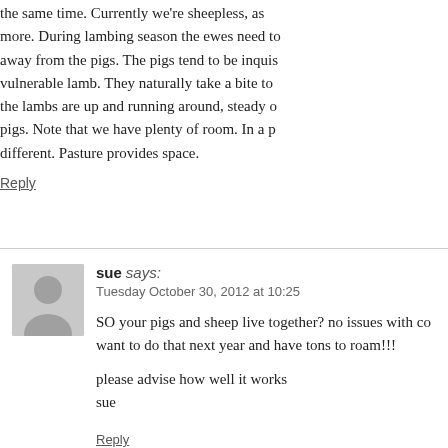the same time. Currently we're sheepless, as more. During lambing season the ewes need to away from the pigs. The pigs tend to be inquis vulnerable lamb. They naturally take a bite to the lambs are up and running around, steady o pigs. Note that we have plenty of room. In a p different. Pasture provides space.
Reply
sue says: Tuesday October 30, 2012 at 10:25
SO your pigs and sheep live together? no issues with co want to do that next year and have tons to roam!!!

please advise how well it works
sue
Reply